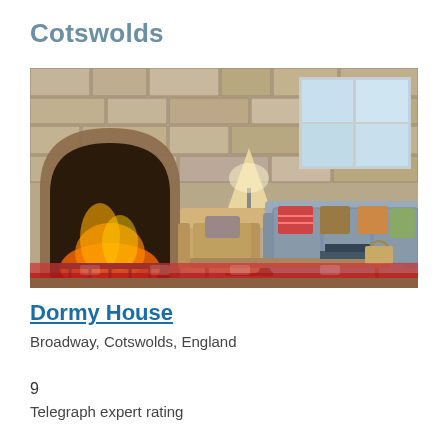Cotswolds
[Figure (photo): Interior of Dormy House hotel showing a cosy stone-walled lounge with a lit fireplace, tufted grey sofa with colourful cushions, leather armchair, wooden coffee table, and a red patterned rug on the floor.]
Dormy House
Broadway, Cotswolds, England
9
Telegraph expert rating